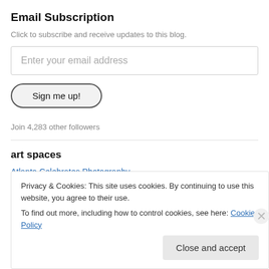Email Subscription
Click to subscribe and receive updates to this blog.
Enter your email address
Sign me up!
Join 4,283 other followers
art spaces
Atlanta Celebrates Photography
Privacy & Cookies: This site uses cookies. By continuing to use this website, you agree to their use. To find out more, including how to control cookies, see here: Cookie Policy
Close and accept